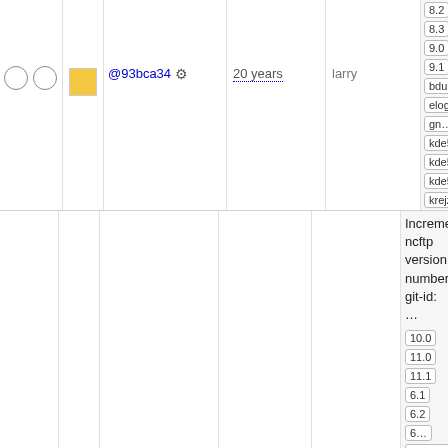|  |  | Commit | Age | Author | Tags |
| --- | --- | --- | --- | --- | --- |
| ○ ○ | ■(yellow) | @93bca34 ⚙ | 20 years | larry | 8.2 8.3 9.0 9.1 bdubbs/svn elogind gn… kde5-13430 kde5-14269 kde5-14686 krejzi/svn lazarus no… perl-modules qt5new sys… 11177 syste… 13485 trunk upgradedb v5_0 v5_0… v5_1 v5_1… xry111/intltoo… xry111/test-20220226 |
|  |  |  |  |  | Incrementing ncftp version number. git-id: … 10.0 11.0 11.1 6.1 6.2 6… 6.2.0-rc1 6… rc2 6.3 6.… 6.3-rc2 6.3… 7.10 7.4 7.6 7.6 bh… |